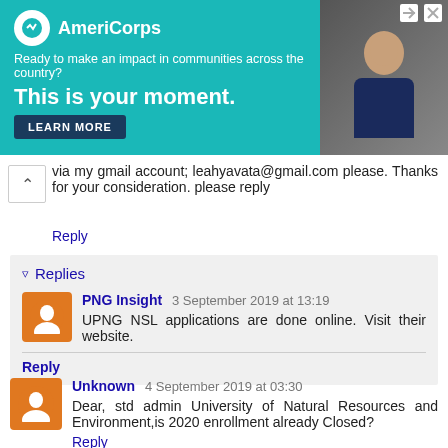[Figure (other): AmeriCorps advertisement banner: teal background with logo, tagline 'Ready to make an impact in communities across the country?', headline 'This is your moment.', LEARN MORE button, and a photo of a person on the right with close/arrow controls.]
via my gmail account; leahyavata@gmail.com please. Thanks for your consideration. please reply
Reply
Replies
PNG Insight 3 September 2019 at 13:19
UPNG NSL applications are done online. Visit their website.
Reply
Unknown 4 September 2019 at 03:30
Dear, std admin University of Natural Resources and Environment,is 2020 enrollment already Closed?
Reply